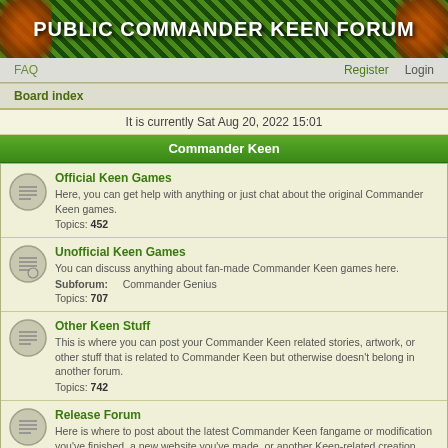PUBLIC COMMANDER KEEN FORUM
FAQ   Register   Login
Board index
It is currently Sat Aug 20, 2022 15:01
Commander Keen
Official Keen Games
Here, you can get help with anything or just chat about the original Commander Keen games.
Topics: 452
Unofficial Keen Games
You can discuss anything about fan-made Commander Keen games here.
Subforum: Commander Genius
Topics: 707
Other Keen Stuff
This is where you can post your Commander Keen related stories, artwork, or other stuff that is related to Commander Keen but otherwise doesn't belong in another forum.
Topics: 742
Release Forum
Here is where to post about the latest Commander Keen fangame or modification you've finished, a new website you've made, or another Keen-related creation.
Topics: 353